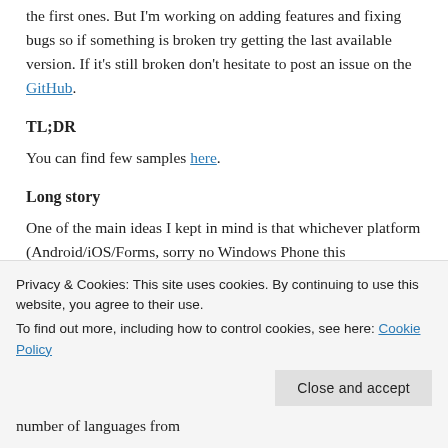the first ones. But I'm working on adding features and fixing bugs so if something is broken try getting the last available version. If it's still broken don't hesitate to post an issue on the GitHub.
TL;DR
You can find few samples here.
Long story
One of the main ideas I kept in mind is that whichever platform (Android/iOS/Forms, sorry no Windows Phone this
Privacy & Cookies: This site uses cookies. By continuing to use this website, you agree to their use.
To find out more, including how to control cookies, see here: Cookie Policy
number of languages from